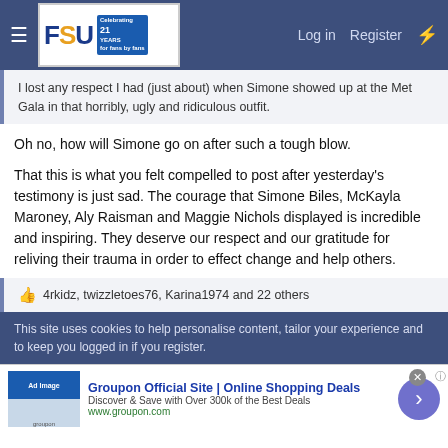FSU forum — Log in  Register
I lost any respect I had (just about) when Simone showed up at the Met Gala in that horribly, ugly and ridiculous outfit.
Oh no, how will Simone go on after such a tough blow.
That this is what you felt compelled to post after yesterday's testimony is just sad. The courage that Simone Biles, McKayla Maroney, Aly Raisman and Maggie Nichols displayed is incredible and inspiring. They deserve our respect and our gratitude for reliving their trauma in order to effect change and help others.
👍 4rkidz, twizzletoes76, Karina1974 and 22 others
This site uses cookies to help personalise content, tailor your experience and to keep you logged in if you register.
Groupon Official Site | Online Shopping Deals
Discover & Save with Over 300k of the Best Deals
www.groupon.com